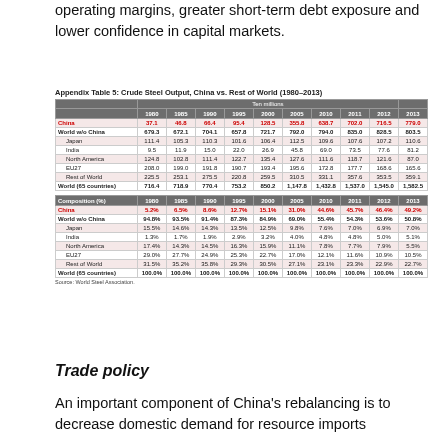operating margins, greater short-term debt exposure and lower confidence in capital markets.
Appendix Table 5: Crude Steel Output, China vs. Rest of World (1980–2013)
|  | Ten millions |  |  |  |  |  |  |  |  |  |
| --- | --- | --- | --- | --- | --- | --- | --- | --- | --- | --- |
|  | 1980 | 1985 | 1990 | 1995 | 2000 | 2005 | 2010 | 2011 | 2012 | 2013 |
| China | 37.1 | 46.8 | 66.4 | 95.4 | 128.5 | 355.8 | 638.7 | 702.0 | 716.5 | 779.0 |
| World w/o China | 679.3 | 672.1 | 704.1 | 657.8 | 721.7 | 792.0 | 794.0 | 835.0 | 828.5 | 803.5 |
| Japan | 111.4 | 105.3 | 110.3 | 101.6 | 106.4 | 112.5 | 109.6 | 107.6 | 107.2 | 110.6 |
| India | 9.5 | 11.9 | 15.0 | 22.0 | 26.9 | 45.8 | 69.0 | 73.5 | 77.6 | 81.2 |
| North America | 124.8 | 102.8 | 111.4 | 122.7 | 135.4 | 127.6 | 111.6 | 118.7 | 121.6 | 87.0 |
| EU27 | 208.0 | 199.0 | 191.8 | 190.7 | 193.4 | 195.6 | 172.8 | 177.7 | 168.6 | 165.6 |
| Rest of World | 225.5 | 253.1 | 275.5 | 220.8 | 259.5 | 310.5 | 331.1 | 357.6 | 353.5 | 359.1 |
| World (65 countries) | 716.4 | 718.9 | 770.4 | 753.2 | 850.2 | 1,147.8 | 1,432.8 | 1,537.0 | 1,545.0 | 1,582.5 |
| Composition (%) | 1980 | 1985 | 1990 | 1995 | 2000 | 2005 | 2010 | 2011 | 2012 | 2013 |
| China | 5.2% | 6.5% | 8.6% | 12.7% | 15.1% | 31.0% | 44.6% | 45.7% | 46.4% | 49.2% |
| World w/o China | 94.8% | 93.5% | 91.4% | 87.3% | 84.9% | 69.0% | 55.4% | 54.3% | 53.6% | 50.8% |
| Japan | 15.5% | 14.6% | 14.3% | 13.5% | 12.5% | 9.8% | 7.6% | 7.0% | 6.9% | 7.0% |
| India | 1.3% | 1.7% | 1.9% | 2.9% | 3.2% | 4.0% | 4.8% | 4.8% | 5.0% | 5.1% |
| North America | 17.4% | 14.3% | 14.5% | 16.3% | 15.9% | 11.1% | 7.8% | 7.7% | 7.9% | 5.5% |
| EU27 | 29.0% | 27.7% | 24.9% | 25.3% | 22.7% | 17.0% | 12.1% | 11.6% | 10.9% | 10.5% |
| Rest of World | 31.5% | 35.2% | 35.8% | 29.3% | 30.5% | 27.1% | 23.1% | 23.3% | 22.9% | 22.7% |
| World (65 countries) | 100.0% | 100.0% | 100.0% | 100.0% | 100.0% | 100.0% | 100.0% | 100.0% | 100.0% | 100.0% |
Source: World Steel Association.
Trade policy
An important component of China's rebalancing is to decrease domestic demand for resource imports